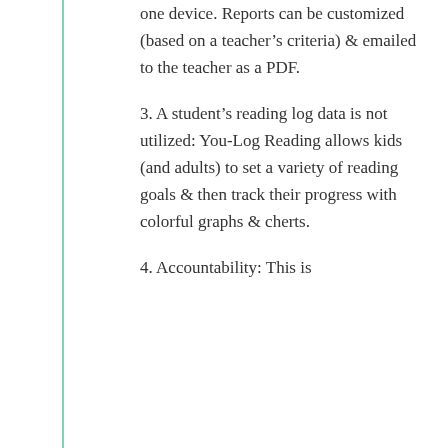one device. Reports can be customized (based on a teacher's criteria) & emailed to the teacher as a PDF.
3. A student's reading log data is not utilized: You-Log Reading allows kids (and adults) to set a variety of reading goals & then track their progress with colorful graphs & cherts.
4. Accountability: This is